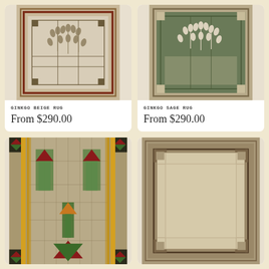[Figure (photo): Ginkgo Beige Rug - rectangular rug with ginkgo leaf motif on beige/cream background with geometric border in brown and red tones]
GINKGO BEIGE RUG
From $290.00
[Figure (photo): Ginkgo Sage Rug - rectangular rug with ginkgo leaf motif on olive/sage green background with geometric border in tan and brown tones]
GINKGO SAGE RUG
From $290.00
[Figure (photo): Arts and Crafts style rug with vertical panel design featuring stylized plant/torch motifs in green, red, orange on beige background with yellow/gold geometric border and dark corner medallions]
[Figure (photo): Simple geometric rug in tan/taupe tones with rectangular border frames and corner bracket details on cream center field]